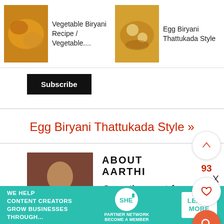[Figure (screenshot): Carousel of recipe thumbnails: Vegetable Biryani Recipe / Vegetable...., Egg Biryani Thattukada Style, Green Vegetable Biryani Re...]
Vegetable Biryani Recipe / Vegetable....
Egg Biryani Thattukada Style
Green Vegetable Biryani Re
Subscribe
Egg Biryani Thattukada Style »
93
ABOUT AARTHI
Over the past few years I've been on
[Figure (photo): Photo of Aarthi in kitchen]
[Figure (infographic): SHE Media Partner Network advertisement banner: WE HELP CONTENT CREATORS GROW BUSINESSES THROUGH... LEARN MORE BECOME A MEMBER]